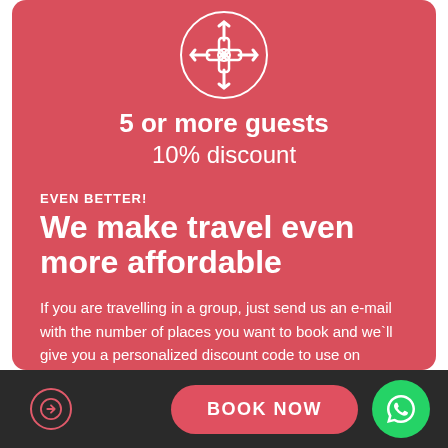[Figure (illustration): White icon of multiple hands joined together in a circle, on red background]
5 or more guests
10% discount
EVEN BETTER!
We make travel even more affordable
If you are travelling in a group, just send us an e-mail with the number of places you want to book and we`ll give you a personalized discount code to use on booking checkout!
BOOK NOW